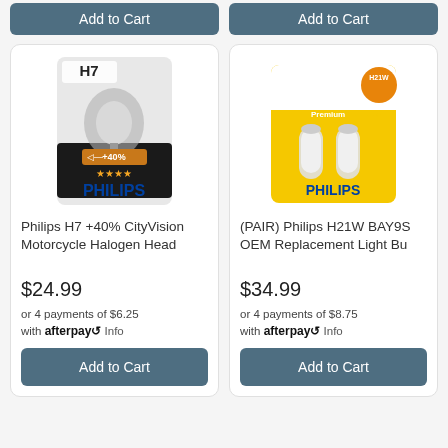[Figure (screenshot): Two 'Add to Cart' buttons at the top, partially visible from previous product cards]
[Figure (photo): Philips H7 +40% CityVision Motorcycle Halogen Head bulb product packaging]
Philips H7 +40% CityVision Motorcycle Halogen Head
$24.99
or 4 payments of $6.25 with afterpay Info
[Figure (photo): Philips H21W BAY9S OEM Replacement Light Bulb pair product packaging on yellow card]
(PAIR) Philips H21W BAY9S OEM Replacement Light Bu
$34.99
or 4 payments of $8.75 with afterpay Info